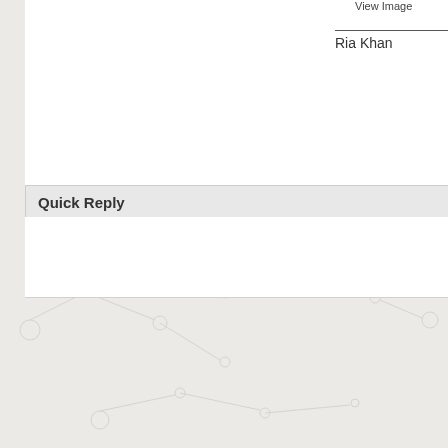View Image
Ria Khan
Quick Reply
Please
Create your own FREE Forum
Report Abuse
[Figure (logo): Powered by Activeboard logo badge with blue circular icon and text]